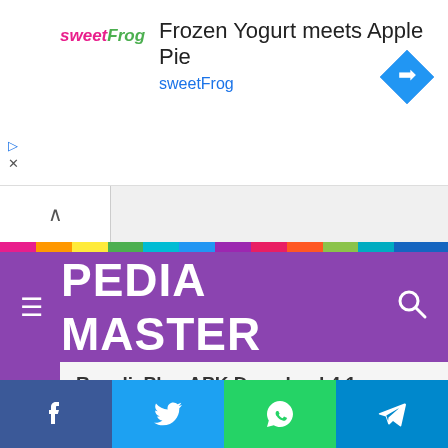[Figure (screenshot): Advertisement banner for sweetFrog frozen yogurt: logo on left, headline 'Frozen Yogurt meets Apple Pie', subtext 'sweetFrog', navigation diamond icon on right]
PEDIA MASTER
RepelisPlus APK Download 4.1 (Premium) Free
[Figure (infographic): Social share bar with Facebook, Twitter, WhatsApp, and Telegram buttons]